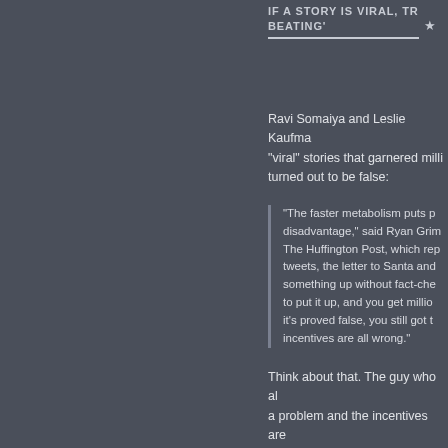IF A STORY IS VIRAL, TR[UE OR NOT WORTH] BEATING' ★
Ravi Somaiya and Leslie Kaufma[n wrote about] "viral" stories that garnered milli[ons of views but] turned out to be false:
"The faster metabolism puts p[ress outlets at a] disadvantage," said Ryan Grim[m, Washington bureau chief of] The Huffington Post, which rep[orted on some of the] tweets, the letter to Santa and[the other stories.] something up without fact-che[cking because you want] to put it up, and you get millio[ns of pageviews. When] it's proved false, you still got t[he pageviews. The] incentives are all wrong."
Think about that. The guy who al[ready acknowledged] a problem and the incentives are[all wrong. Meaning] that page view-based advertising[creates perverse] leads.